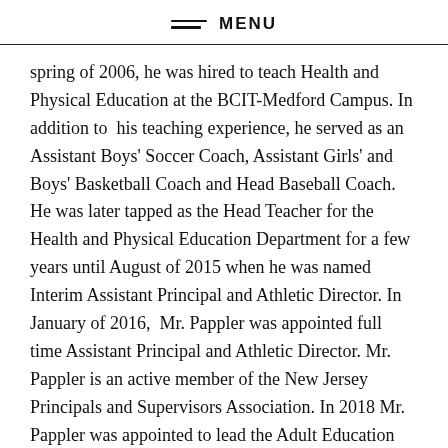MENU
spring of 2006, he was hired to teach Health and Physical Education at the BCIT-Medford Campus. In addition to  his teaching experience, he served as an Assistant Boys' Soccer Coach, Assistant Girls' and Boys' Basketball Coach and Head Baseball Coach. He was later tapped as the Head Teacher for the Health and Physical Education Department for a few years until August of 2015 when he was named Interim Assistant Principal and Athletic Director. In January of 2016,  Mr. Pappler was appointed full time Assistant Principal and Athletic Director. Mr. Pappler is an active member of the New Jersey Principals and Supervisors Association. In 2018 Mr. Pappler was appointed to lead the Adult Education Division as the Assistant Principal.